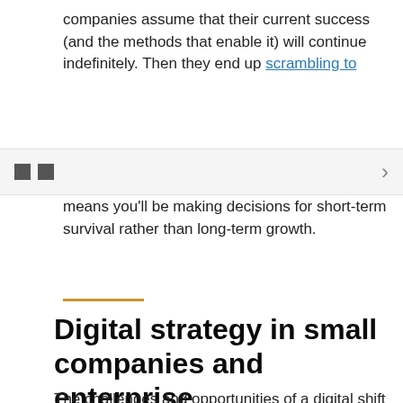companies assume that their current success (and the methods that enable it) will continue indefinitely. Then they end up scrambling to
□□  >
means you'll be making decisions for short-term survival rather than long-term growth.
Digital strategy in small companies and enterprise businesses
The challenges and opportunities of a digital shift